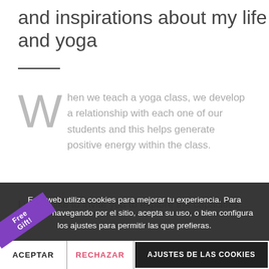and inspirations about my life and yoga
When we teach a yoga class, we develop a relationship with each one of our students and this helps generate positive energy within the class.
I would like to invite you to explore the capacities
Esta web utiliza cookies para mejorar tu experiencia. Para continuar navegando por el sitio, acepta su uso, o bien configura los ajustes para permitir las que prefieras.
ACEPTAR   RECHAZAR   AJUSTES DE LAS COOKIES
Free Gift!